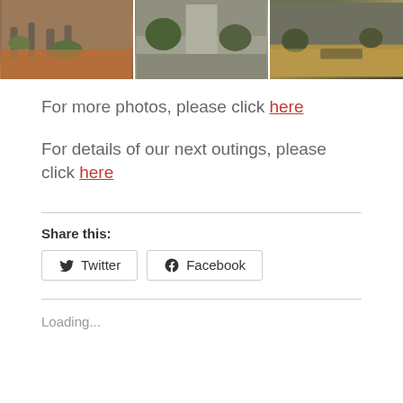[Figure (photo): Three cemetery photos side by side showing gravestones with fallen leaves and green shrubs in autumn setting]
For more photos, please click here
For details of our next outings, please click here
Share this:
Twitter
Facebook
Loading...